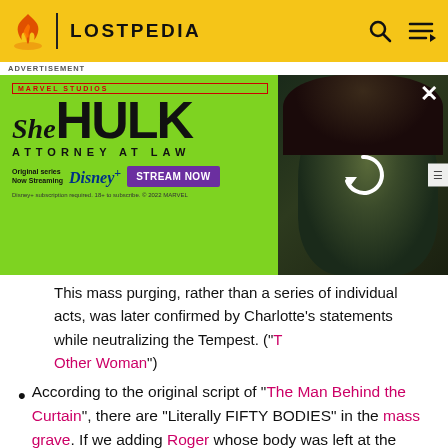LOSTPEDIA
[Figure (screenshot): She-Hulk: Attorney at Law advertisement banner on green background with Disney+ Stream Now button and character image on right side with loading/refresh icon overlay]
This mass purging, rather than a series of individual acts, was later confirmed by Charlotte's statements while neutralizing the Tempest. ("The Other Woman")
According to the original script of "The Man Behind the Curtain", there are "Literally FIFTY BODIES" in the mass grave. If we adding Roger whose body was left at the mesa, we will know that there were 51 DHARMA members killed in the purge.